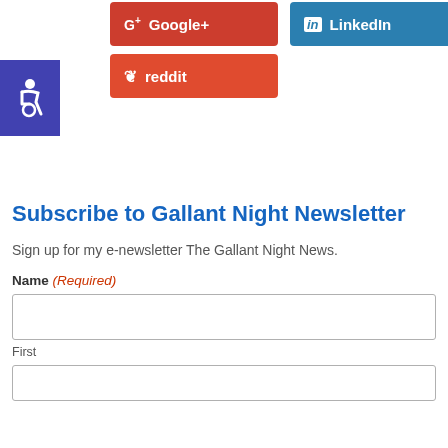[Figure (other): Social share buttons: Google+, LinkedIn, reddit]
[Figure (other): Accessibility icon button (wheelchair symbol) in purple]
Subscribe to Gallant Night Newsletter
Sign up for my e-newsletter The Gallant Night News.
Name (Required)
First